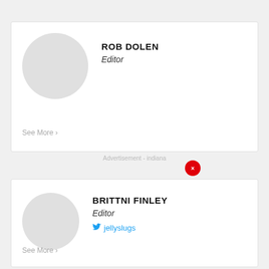[Figure (photo): Profile card for Rob Dolen with circular gray avatar placeholder, name ROB DOLEN in bold uppercase, role Editor in italic, and See More link]
ROB DOLEN
Editor
See More ›
Advertisement - indiana
[Figure (photo): Profile card for Brittni Finley with circular gray avatar placeholder, name BRITTNI FINLEY in bold uppercase, role Editor in italic, Twitter handle jellyslugs, and See More link]
BRITTNI FINLEY
Editor
jellyslugs
See More ›